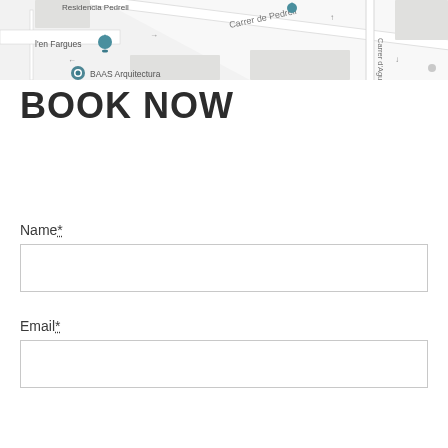[Figure (map): Street map showing Residencia Pedrell, Carrer de Pedrell, l'en Fargues, Carrer d'Aguilar, and BAAS Arquitectura location markers]
BOOK NOW
Name*
Email*